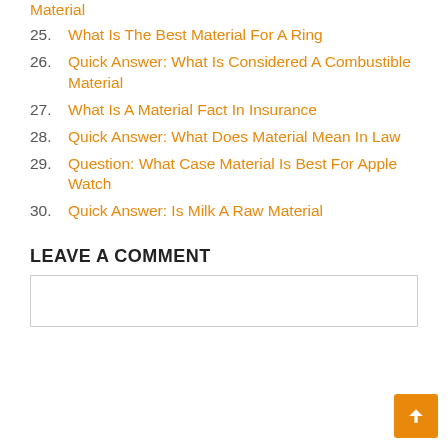Material (partial, top of page)
25. What Is The Best Material For A Ring
26. Quick Answer: What Is Considered A Combustible Material
27. What Is A Material Fact In Insurance
28. Quick Answer: What Does Material Mean In Law
29. Question: What Case Material Is Best For Apple Watch
30. Quick Answer: Is Milk A Raw Material
LEAVE A COMMENT